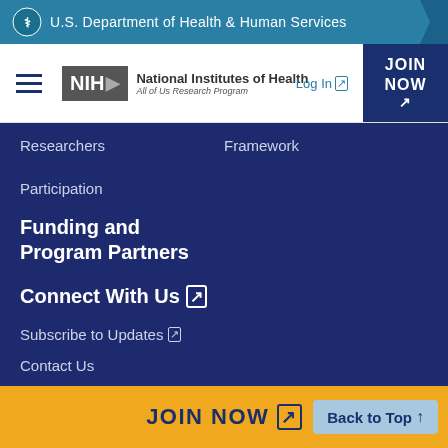U.S. Department of Health & Human Services
[Figure (logo): NIH All of Us Research Program logo with hamburger menu, Log In button, and JOIN NOW button]
Researchers
Framework
Participation
Funding and Program Partners
Connect With Us
Subscribe to Updates
Contact Us
JOIN NOW
Back to Top